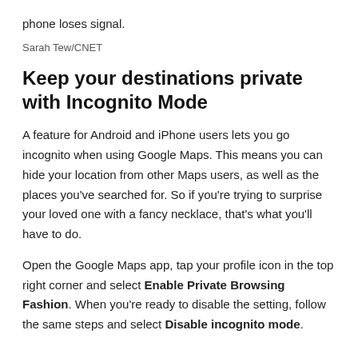phone loses signal.
Sarah Tew/CNET
Keep your destinations private with Incognito Mode
A feature for Android and iPhone users lets you go incognito when using Google Maps. This means you can hide your location from other Maps users, as well as the places you've searched for. So if you're trying to surprise your loved one with a fancy necklace, that's what you'll have to do.
Open the Google Maps app, tap your profile icon in the top right corner and select Enable Private Browsing Fashion. When you're ready to disable the setting, follow the same steps and select Disable incognito mode.